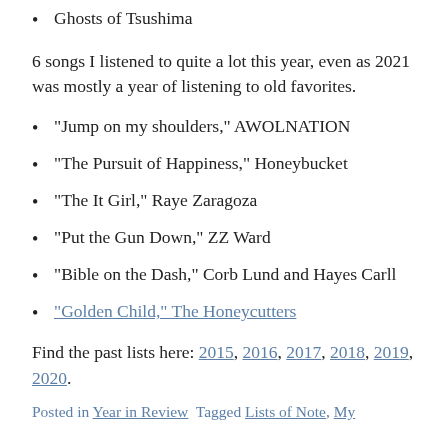Ghosts of Tsushima
6 songs I listened to quite a lot this year, even as 2021 was mostly a year of listening to old favorites.
“Jump on my shoulders,” AWOLNATION
“The Pursuit of Happiness,” Honeybucket
“The It Girl,” Raye Zaragoza
“Put the Gun Down,” ZZ Ward
“Bible on the Dash,” Corb Lund and Hayes Carll
“Golden Child,” The Honeycutters
Find the past lists here: 2015, 2016, 2017, 2018, 2019, 2020.
Posted in Year in Review  Tagged Lists of Note, My